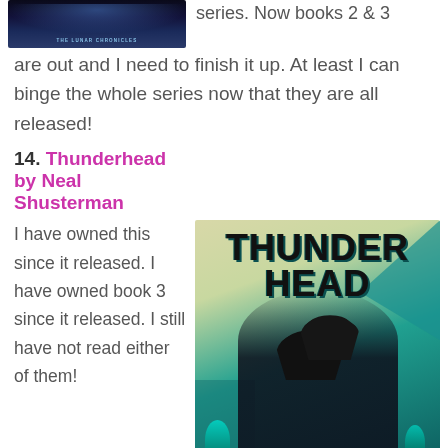[Figure (illustration): Top portion of a book cover for The Lunar Chronicles series, showing a dark blue/teal background with the series title text visible at the bottom of the crop.]
series. Now books 2 & 3 are out and I need to finish it up. At least I can binge the whole series now that they are all released!
14. Thunderhead by Neal Shusterman
[Figure (illustration): Book cover of Thunderhead by Neal Shusterman. Teal and cream Art Deco style cover showing two cloaked reaper figures in silhouette against a light background with teal geometric shapes. Bold blocky text reads THUNDER HEAD at the top.]
I have owned this since it released. I have owned book 3 since it released. I still have not read either of them!